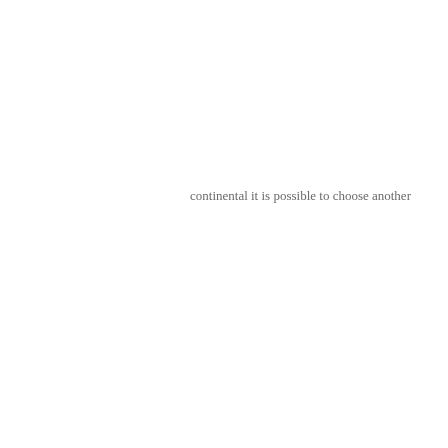continental it is possible to choose another